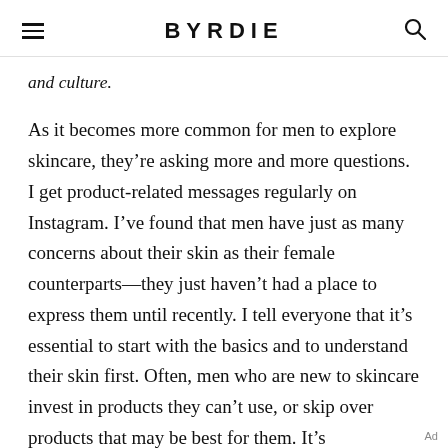BYRDIE
and culture.
As it becomes more common for men to explore skincare, they’re asking more and more questions. I get product-related messages regularly on Instagram. I’ve found that men have just as many concerns about their skin as their female counterparts—they just haven’t had a place to express them until recently. I tell everyone that it’s essential to start with the basics and to understand their skin first. Often, men who are new to skincare invest in products they can’t use, or skip over products that may be best for them. It’s
Ad